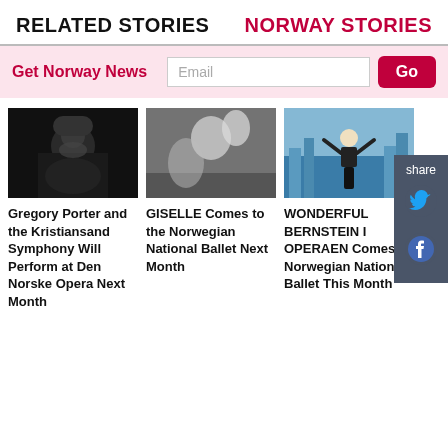RELATED STORIES
NORWAY STORIES
Get Norway News
[Figure (screenshot): Email newsletter signup bar with label 'Get Norway News', an email input field, and a red 'Go' button]
[Figure (photo): Photo of Gregory Porter, a man with a hat singing]
Gregory Porter and the Kristiansand Symphony Will Perform at Den Norske Opera Next Month
[Figure (photo): Photo of ballet dancers for GISELLE performance]
GISELLE Comes to the Norwegian National Ballet Next Month
[Figure (illustration): Illustration of a conductor with arms raised, city skyline in background (Wonderful Bernstein)]
WONDERFUL BERNSTEIN I OPERAEN Comes to Norwegian National Ballet This Month